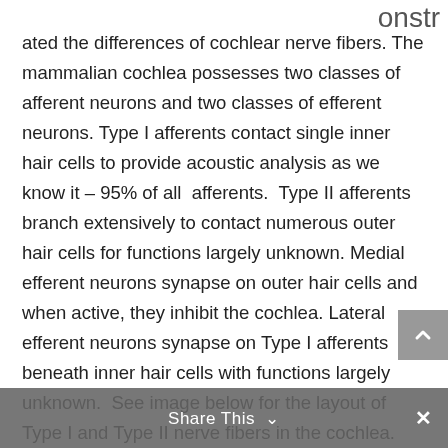onstrated the differences of cochlear nerve fibers. The mammalian cochlea possesses two classes of afferent neurons and two classes of efferent neurons. Type I afferents contact single inner hair cells to provide acoustic analysis as we know it – 95% of all afferents. Type II afferents branch extensively to contact numerous outer hair cells for functions largely unknown. Medial efferent neurons synapse on outer hair cells and when active, they inhibit the cochlea. Lateral efferent neurons synapse on Type I afferents beneath inner hair cells with functions largely unknown. See image below for the layout of Type I and Type II nerve fibers in the cochlea.
Share This ∨  ×